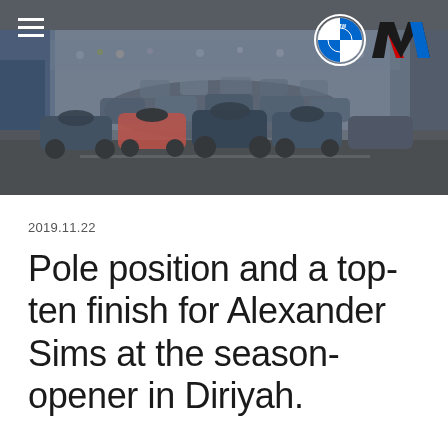[Figure (photo): Racing cars on a circuit track, packed together at the start of a Formula E race. Multiple electric race cars in various team colors visible in an indoor or covered circuit. BMW and BMW M logos appear in the top right corner; a hamburger menu icon appears in the top left.]
2019.11.22
Pole position and a top-ten finish for Alexander Sims at the season-opener in Diriyah.